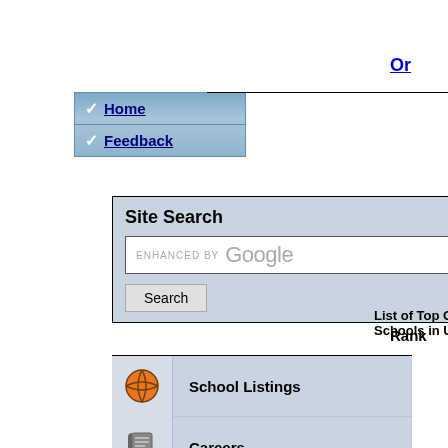[Figure (screenshot): Navigation bar with Home and Feedback links with checkmarks, blue gradient background]
Or
[Figure (screenshot): Site Search box with Google enhanced search bar and Search button]
List of Top O... Schools in US
Rank
1
School Listings
Careers
2
FAQs
Examination
3
Finance